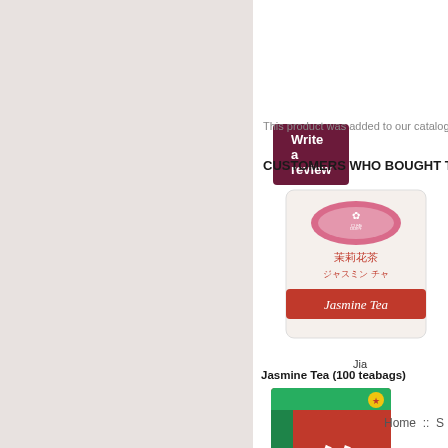[Figure (screenshot): E-commerce product page screenshot showing 'Write a review' button, catalog text, 'Customers Who Bought This' section with Jasmine Tea and Detox Foot Patches products, and Home navigation footer]
Write a review
This product was added to our catalog on Fri
CUSTOMERS WHO BOUGHT T
[Figure (photo): Jasmine Tea product image - white tea bag packet with pink/red oval logo and Japanese/Chinese text, 'Jasmine Tea' label]
Jia
Jasmine Tea (100 teabags)
[Figure (photo): Detox Foot Patches product box - red and green packaging with Chinese characters]
Bao
Detox Foot Patches (8 patches)
Home :: S